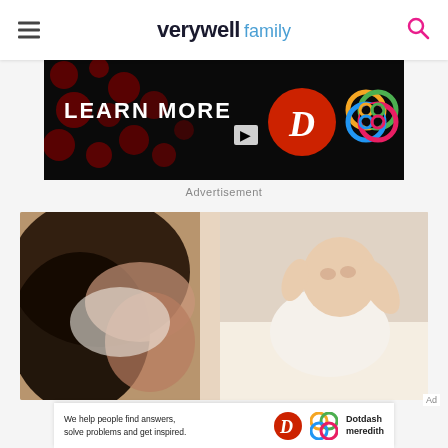verywell family
[Figure (photo): Advertisement banner with black background showing 'LEARN MORE' text with arrow button, a red circle D logo and a colorful knot/flower logo on the right side, with dark red polka dots on left side]
Advertisement
[Figure (photo): Photo of a mother with dark hair lying down facing a newborn baby dressed in white, both on a light-colored surface]
Ad
[Figure (photo): Bottom advertisement banner on white background reading 'We help people find answers, solve problems and get inspired.' with Dotdash Meredith logo]